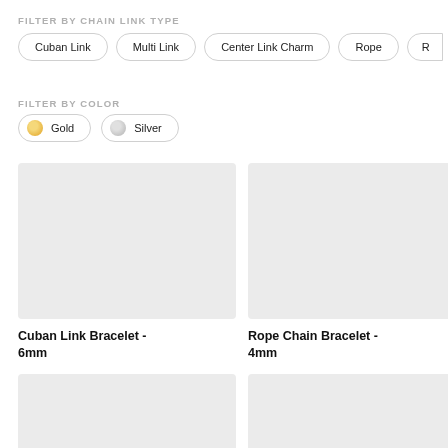FILTER BY CHAIN LINK TYPE
Cuban Link
Multi Link
Center Link Charm
Rope
FILTER BY COLOR
Gold
Silver
[Figure (photo): Product image placeholder for Cuban Link Bracelet - 6mm]
Cuban Link Bracelet - 6mm
[Figure (photo): Product image placeholder for Rope Chain Bracelet - 4mm]
Rope Chain Bracelet - 4mm
[Figure (photo): Product image placeholder, bottom left]
[Figure (photo): Product image placeholder, bottom right]